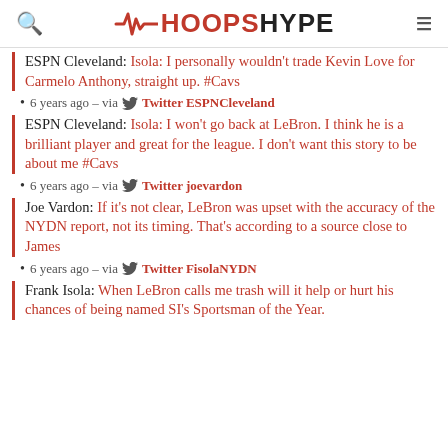HOOPSHYPE
ESPN Cleveland: Isola: I personally wouldn't trade Kevin Love for Carmelo Anthony, straight up. #Cavs
6 years ago – via Twitter ESPNCleveland
ESPN Cleveland: Isola: I won't go back at LeBron. I think he is a brilliant player and great for the league. I don't want this story to be about me #Cavs
6 years ago – via Twitter joevardon
Joe Vardon: If it's not clear, LeBron was upset with the accuracy of the NYDN report, not its timing. That's according to a source close to James
6 years ago – via Twitter FisolaNYDN
Frank Isola: When LeBron calls me trash will it help or hurt his chances of being named SI's Sportsman of the Year.